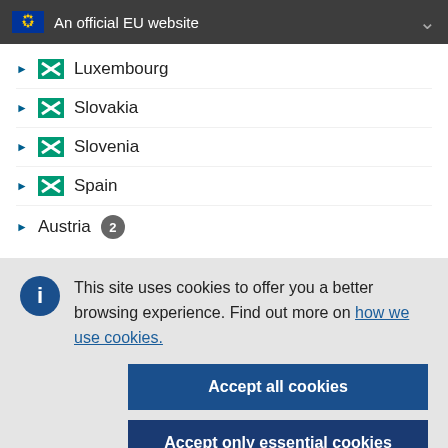An official EU website
Luxembourg
Slovakia
Slovenia
Spain
Austria 2
This site uses cookies to offer you a better browsing experience. Find out more on how we use cookies.